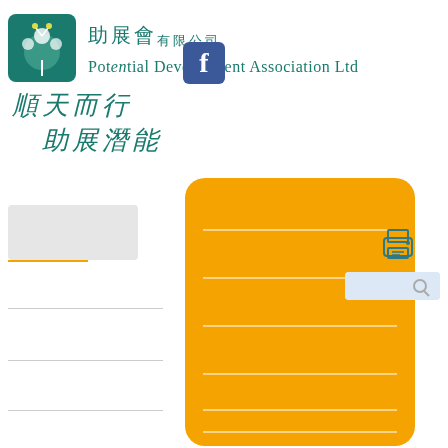[Figure (logo): Potential Development Association Ltd logo with dandelion icon, Chinese characters 助展會有限公司 and English text Potential Development Association Ltd, with Facebook icon overlay]
順天而行 助展潛能
[Figure (infographic): Orange rounded rectangle navigation menu bar with white horizontal divider lines, representing website navigation items]